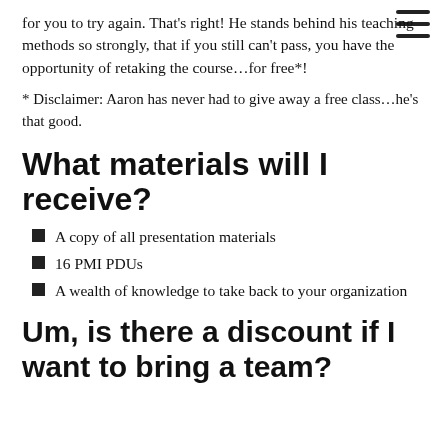[Figure (other): Hamburger menu icon (three horizontal lines) in top right corner]
for you to try again. That's right! He stands behind his teaching methods so strongly, that if you still can't pass, you have the opportunity of retaking the course…for free*!
* Disclaimer: Aaron has never had to give away a free class…he's that good.
What materials will I receive?
A copy of all presentation materials
16 PMI PDUs
A wealth of knowledge to take back to your organization
Um, is there a discount if I want to bring a team?